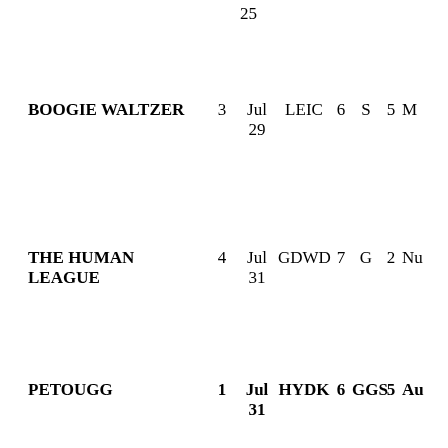25
| Name | Num | Date | Code | N | S | V | Rest |
| --- | --- | --- | --- | --- | --- | --- | --- |
| BOOGIE WALTZER | 3 | Jul 29 | LEIC | 6 | S | 5 | M... |
| THE HUMAN LEAGUE | 4 | Jul 31 | GDWD | 7 | G | 2 | Nu... |
| PETOUGG | 1 | Jul 31 | HYDK | 6 | GGS | 5 | Au... |